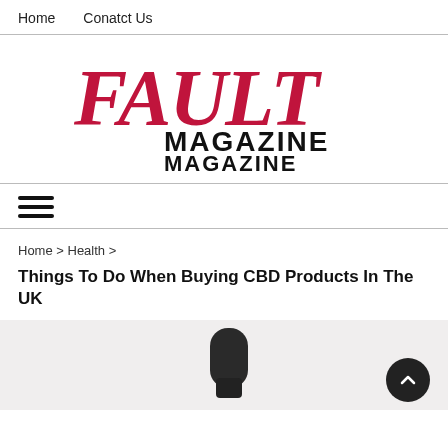Home   Conatct Us
[Figure (logo): FAULT MAGAZINE logo with red italic FAULT text and black blocky MAGAZINE text repeated twice]
≡ (hamburger menu icon)
Home > Health >
Things To Do When Buying CBD Products In The UK
[Figure (photo): Photo of a dark rounded object (likely a CBD dropper bottle cap) against a light background]